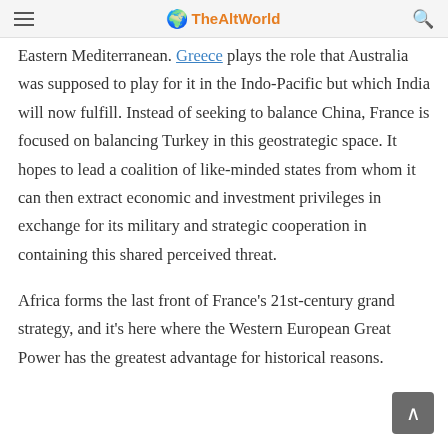TheAltWorld
Eastern Mediterranean. Greece plays the role that Australia was supposed to play for it in the Indo-Pacific but which India will now fulfill. Instead of seeking to balance China, France is focused on balancing Turkey in this geostrategic space. It hopes to lead a coalition of like-minded states from whom it can then extract economic and investment privileges in exchange for its military and strategic cooperation in containing this shared perceived threat.
Africa forms the last front of France's 21st-century grand strategy, and it's here where the Western European Great Power has the greatest advantage for historical reasons.